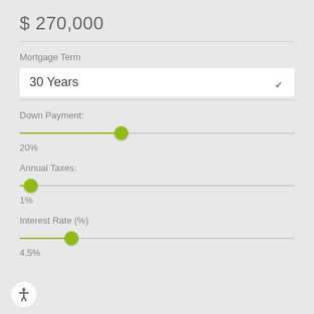$ 270,000
Mortgage Term
30 Years
Down Payment:
20%
Annual Taxes:
1%
Interest Rate (%)
4.5%